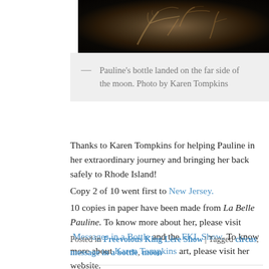[Figure (photo): Dark photograph showing what appears to be organic branching forms (possibly roots or veins) on a black background with sepia/brown tones]
— Pauline's bottle landed on the far side of the moon. Photo by Karen Tompkins
Thanks to Karen Tompkins for helping Pauline in her extraordinary journey and bringing her back safely to Rhode Island! Copy 2 of 10 went first to New Jersey. 10 copies in paper have been made from La Belle Pauline. To know more about her, please visit Messages in a Bottle and the FKL Show. To know more about Karen Tompkins art, please visit her website.
Posted in Freevolous King Lère Show | Tagged circus, message in a bottle, moon